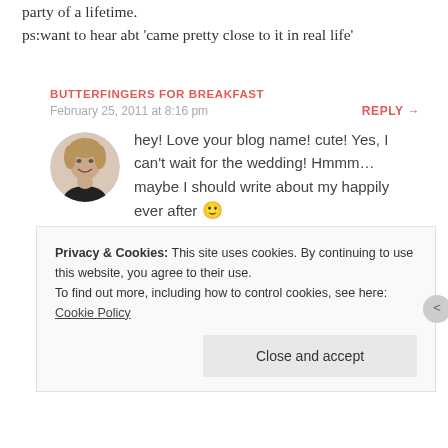party of a lifetime.
ps:want to hear abt 'came pretty close to it in real life'
BUTTERFINGERS FOR BREAKFAST
February 25, 2011 at 8:16 pm
REPLY →
[Figure (photo): Circular avatar photo of a woman smiling]
hey! Love your blog name! cute! Yes, I can't wait for the wedding! Hmmm… maybe I should write about my happily ever after 🙂
Privacy & Cookies: This site uses cookies. By continuing to use this website, you agree to their use.
To find out more, including how to control cookies, see here: Cookie Policy
Close and accept